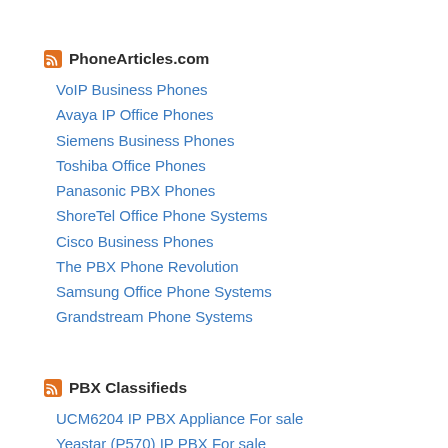PhoneArticles.com
VoIP Business Phones
Avaya IP Office Phones
Siemens Business Phones
Toshiba Office Phones
Panasonic PBX Phones
ShoreTel Office Phone Systems
Cisco Business Phones
The PBX Phone Revolution
Samsung Office Phone Systems
Grandstream Phone Systems
PBX Classifieds
UCM6204 IP PBX Appliance For sale
Yeastar (P570) IP PBX For sale
PABX Telephone Switch System Contr For sale
Smart Business IP Phone for SFB For sale